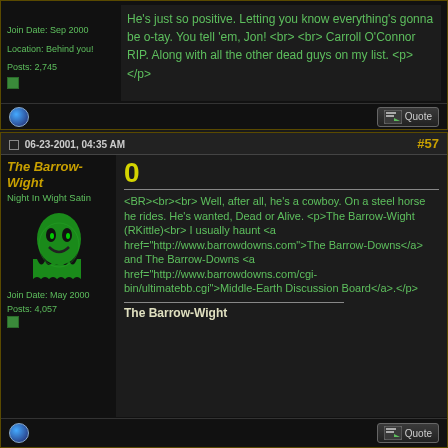Join Date: Sep 2000
Location: Behind you!
Posts: 2,745
He's just so positive. Letting you know everything's gonna be o-tay. You tell 'em, Jon! <br> <br> Carroll O'Connor RIP. Along with all the other dead guys on my list. <p> </p>
06-23-2001, 04:35 AM
#57
The Barrow-Wight
Night In Wight Satin
Join Date: May 2000
Posts: 4,057
<BR><br><br> Well, after all, he's a cowboy. On a steel horse he rides. He's wanted, Dead or Alive. <p>The Barrow-Wight (RKittle)<br> I usually haunt <a href="http://www.barrowdowns.com">The Barrow-Downs</a> and The Barrow-Downs <a href="http://www.barrowdowns.com/cgi-bin/ultimatebb.cgi">Middle-Earth Discussion Board</a>.</p>
The Barrow-Wight